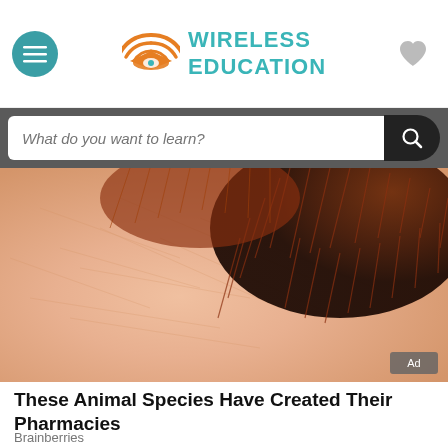[Figure (logo): Wireless Education logo with wifi/graduation cap icon in orange and teal text]
[Figure (screenshot): Search bar with text 'What do you want to learn?' on dark background with search button]
[Figure (photo): Close-up macro photo of a caterpillar or fuzzy insect on skin, with Ad badge in corner]
These Animal Species Have Created Their Pharmacies
Brainberries
[Figure (photo): Close-up of dark animal fur/hair, partial view at bottom]
[Figure (screenshot): Course purchase bar with red product thumbnail, price €49,99 and START THIS COURSE NOW button]
English  ∨   My Study Wishlist